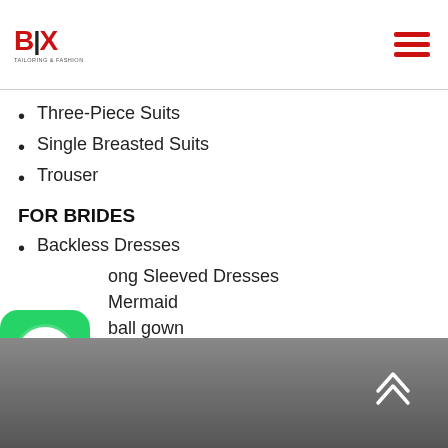BIX logo and hamburger menu
Three-Piece Suits
Single Breasted Suits
Trouser
FOR BRIDES
Backless Dresses
Long Sleeved Dresses
Mermaid
ball gown
[Figure (logo): WhatsApp icon overlay in bottom-left corner]
Gray gradient footer with double chevron up arrow